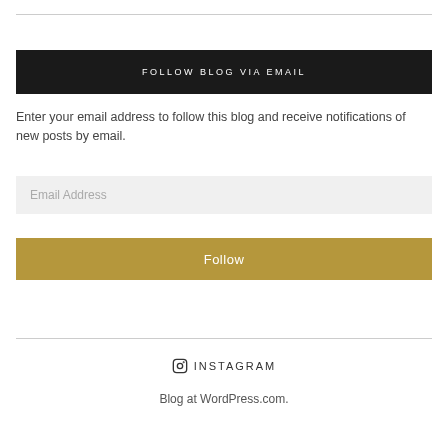FOLLOW BLOG VIA EMAIL
Enter your email address to follow this blog and receive notifications of new posts by email.
Email Address
Follow
INSTAGRAM
Blog at WordPress.com.